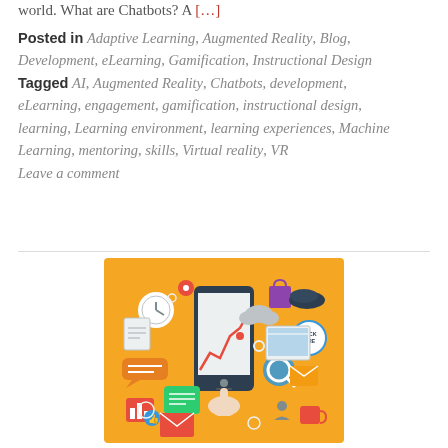world. What are Chatbots? A […]
Posted in Adaptive Learning, Augmented Reality, Blog, Development, eLearning, Gamification, Instructional Design Tagged AI, Augmented Reality, Chatbots, development, eLearning, engagement, gamification, instructional design, learning, Learning environment, learning experiences, Machine Learning, mentoring, skills, Virtual reality, VR Leave a comment
[Figure (illustration): Flat design illustration on golden/amber background showing a hand touching a smartphone surrounded by various digital and technology icons including a clock, location pin, chat bubbles, email envelope, bar chart, magnifying glass, shopping bag, shoes, clouds, and a 'Click Here' button — representing mobile technology and digital learning tools.]